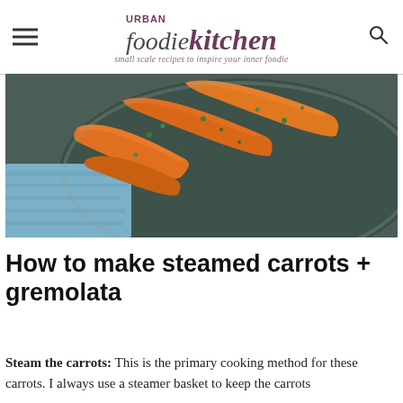URBAN foodiekitchen — small scale recipes to inspire your inner foodie
[Figure (photo): Close-up overhead photo of steamed carrots garnished with green herb gremolata on a dark plate, with a blue cloth napkin visible in the background.]
How to make steamed carrots + gremolata
Steam the carrots: This is the primary cooking method for these carrots. I always use a steamer basket to keep the carrots